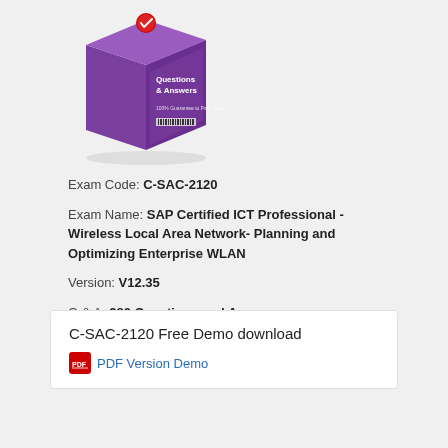[Figure (photo): Purple box product image labeled 'Questions & Answers' with a checkmark badge and barcode, for exam prep materials.]
Exam Code: C-SAC-2120
Exam Name: SAP Certified ICT Professional - Wireless Local Area Network- Planning and Optimizing Enterprise WLAN
Version: V12.35
Q & A: 280 Questions and Answers
C-SAC-2120 Free Demo download
PDF Version Demo